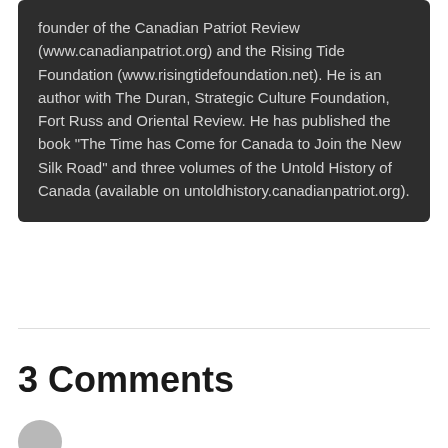founder of the Canadian Patriot Review (www.canadianpatriot.org) and the Rising Tide Foundation (www.risingtidefoundation.net). He is an author with The Duran, Strategic Culture Foundation, Fort Russ and Oriental Review. He has published the book "The Time has Come for Canada to Join the New Silk Road" and three volumes of the Untold History of Canada (available on untoldhistory.canadianpatriot.org).
3 Comments